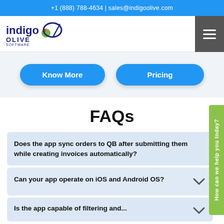+1 (888) 788-4634 | sales@indigoolive.com
[Figure (logo): Indigo Olive Software logo with stylized martini glass and olive graphic, plus hamburger menu icon on right]
Know More
Pricing
FAQs
Does the app sync orders to QB after submitting them while creating invoices automatically?
Can your app operate on iOS and Android OS?
Is the app capable of filtering and...